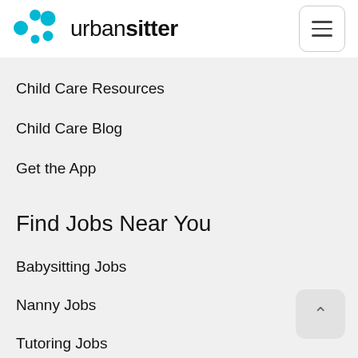urbansitter
Child Care Resources
Child Care Blog
Get the App
Find Jobs Near You
Babysitting Jobs
Nanny Jobs
Tutoring Jobs
Pet Sitting Jobs
Elderly Care Jobs